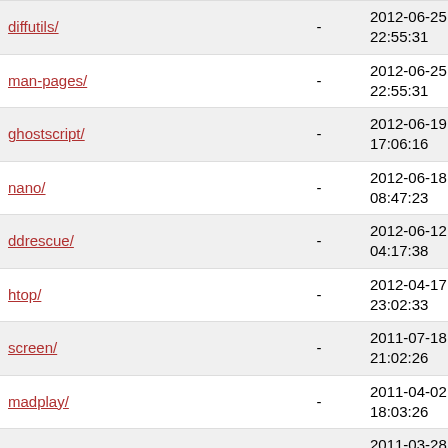| Name | Size | Date |
| --- | --- | --- |
| diffutils/ | - | 2012-06-25 22:55:31 |
| man-pages/ | - | 2012-06-25 22:55:31 |
| ghostscript/ | - | 2012-06-19 17:06:16 |
| nano/ | - | 2012-06-18 08:47:23 |
| ddrescue/ | - | 2012-06-12 04:17:38 |
| htop/ | - | 2012-04-17 23:02:33 |
| screen/ | - | 2011-07-18 21:02:26 |
| madplay/ | - | 2011-04-02 18:03:26 |
| vim/ | - | 2011-03-28 19:08:11 |
| slackpkg/ | - | 2011-03-25 06:59:19 |
| dmidecode/ | - | 2011-03-19 20:28:32 |
| (partial) | - | 2011-03-09 |